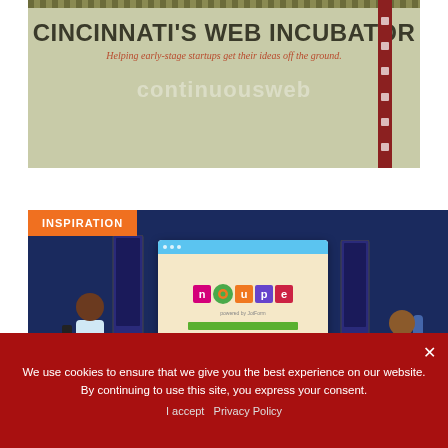[Figure (infographic): Cincinnati's Web Incubator banner with olive/sage green background, bold dark title text, red-brown italic subtitle, 'continuousweb' watermark logo, dotted stripe at top, and red side toolbar with icons]
[Figure (infographic): Inspiration section with dark navy background, orange 'INSPIRATION' tag, browser window showing Noupe logo (colorful letter tiles, powered by JotForm branding, green progress bar), and illustrated persons on either side]
We use cookies to ensure that we give you the best experience on our website. By continuing to use this site, you express your consent.
I accept   Privacy Policy